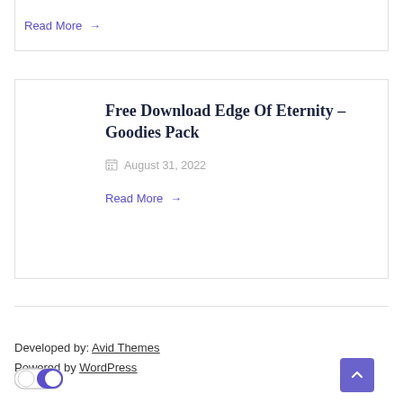Read More →
Free Download Edge Of Eternity – Goodies Pack
August 31, 2022
Read More →
Developed by: Avid Themes
Powered by WordPress